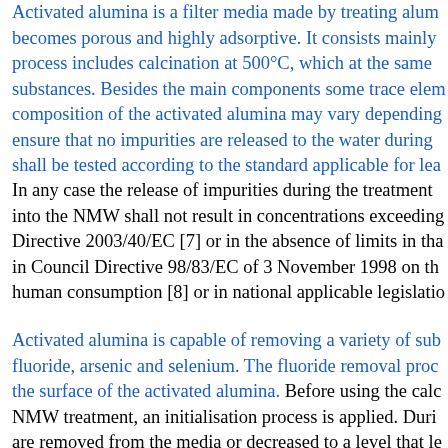Activated alumina is a filter media made by treating alum... becomes porous and highly adsorptive. It consists mainly... process includes calcination at 500°C, which at the same... substances. Besides the main components some trace elem... composition of the activated alumina may vary depending... ensure that no impurities are released to the water during... shall be tested according to the standard applicable for lea...
In any case the release of impurities during the treatment... into the NMW shall not result in concentrations exceeding... Directive 2003/40/EC [7] or in the absence of limits in tha... in Council Directive 98/83/EC of 3 November 1998 on th... human consumption [8] or in national applicable legislatio...
Activated alumina is capable of removing a variety of sub... fluoride, arsenic and selenium. The fluoride removal proc... the surface of the activated alumina. Before using the calc... NMW treatment, an initialisation process is applied. Duri... are removed from the media or decreased to a level that le... not occur. Leaching of the main component, aluminium, d... composition of the treated water. Besides the initialisatio... alumina requires a periodic cleaning with an appropriate m... remove absorbed substances and to restore the absorption...